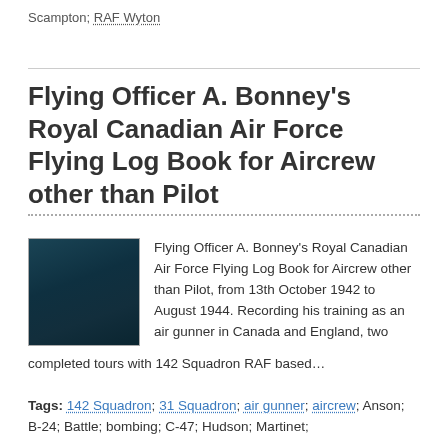Scampton; RAF Wyton
Flying Officer A. Bonney's Royal Canadian Air Force Flying Log Book for Aircrew other than Pilot
[Figure (photo): Dark teal/navy hardcover book]
Flying Officer A. Bonney's Royal Canadian Air Force Flying Log Book for Aircrew other than Pilot, from 13th October 1942 to August 1944. Recording his training as an air gunner in Canada and England, two completed tours with 142 Squadron RAF based…
Tags: 142 Squadron; 31 Squadron; air gunner; aircrew; Anson; B-24; Battle; bombing; C-47; Hudson; Martinet;